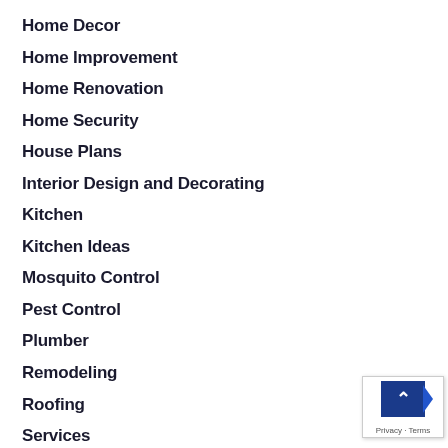Home Decor
Home Improvement
Home Renovation
Home Security
House Plans
Interior Design and Decorating
Kitchen
Kitchen Ideas
Mosquito Control
Pest Control
Plumber
Remodeling
Roofing
Services